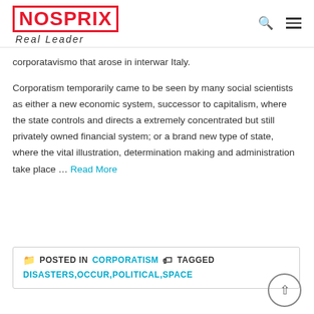NOSPRIX | Real Leader
corporatavismo that arose in interwar Italy.
Corporatism temporarily came to be seen by many social scientists as either a new economic system, successor to capitalism, where the state controls and directs a extremely concentrated but still privately owned financial system; or a brand new type of state, where the vital illustration, determination making and administration take place … Read More
POSTED IN CORPORATISM  TAGGED DISASTERS,OCCUR,POLITICAL,SPACE